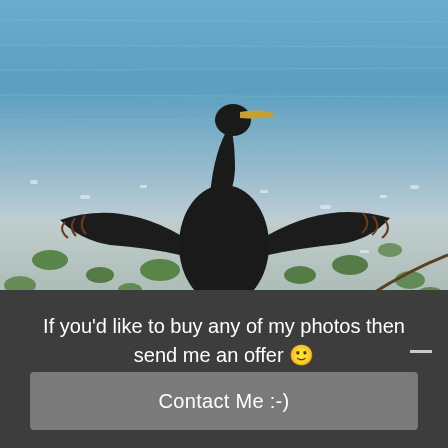[Figure (photo): A large dark bird (cormorant or anhinga) with wings spread wide, silhouetted against a shimmering water background with lily pads and aquatic vegetation. The bird stands in shallow water, wings fully extended, head raised with a yellow beak visible.]
If you'd like to buy any of my photos then send me an offer 🙂
Contact Me :-)